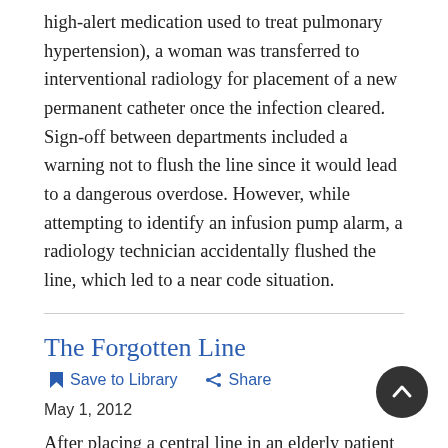high-alert medication used to treat pulmonary hypertension), a woman was transferred to interventional radiology for placement of a new permanent catheter once the infection cleared. Sign-off between departments included a warning not to flush the line since it would lead to a dangerous overdose. However, while attempting to identify an infusion pump alarm, a radiology technician accidentally flushed the line, which led to a near code situation.
The Forgotten Line
Save to Library   Share
May 1, 2012
After placing a central line in an elderly patient following a heart attack, a community hospital transferred him to a referral hospital for stenting of